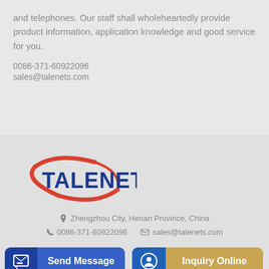and telephones. Our staff shall wholeheartedly provide product information, application knowledge and good service for you.
0086-371-60922096
sales@talenets.com
[Figure (logo): Talenet company logo with red elliptical swoosh and blue bold text TALENET]
Zhengzhou City, Henan Province, China
0086-371-60922096   sales@talenets.com
Send Message
Inquiry Online